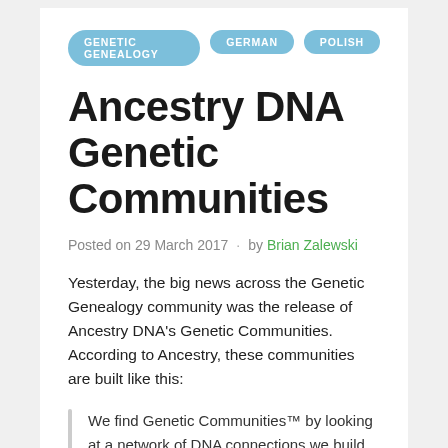GENETIC GENEALOGY
GERMAN
POLISH
Ancestry DNA Genetic Communities
Posted on 29 March 2017 · by Brian Zalewski
Yesterday, the big news across the Genetic Genealogy community was the release of Ancestry DNA's Genetic Communities. According to Ancestry, these communities are built like this:
We find Genetic Communities™ by looking at a network of DNA connections we build using